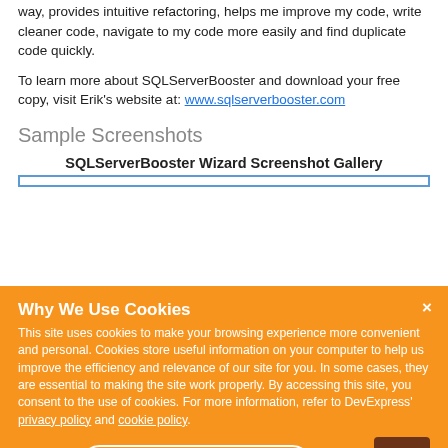way, provides intuitive refactoring, helps me improve my code, write cleaner code, navigate to my code more easily and find duplicate code quickly.
To learn more about SQLServerBooster and download your free copy, visit Erik's website at: www.sqlserverbooster.com
Sample Screenshots
SQLServerBooster Wizard Screenshot Gallery
[Figure (screenshot): Cookie consent overlay on orange background with title 'Why We Use Cookies', body text about cookies, privacy policy and cookie policy links, an 'I UNDERSTAND' button, and a scroll-to-top brown button with up arrow. Overlaid on a webpage showing SQLServerBooster content.]